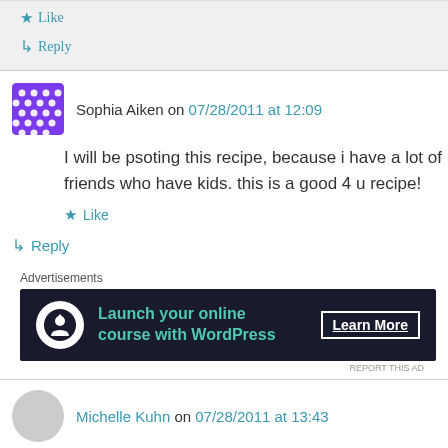★ Like
↳ Reply
Sophia Aiken on 07/28/2011 at 12:09
I will be psoting this recipe, because i have a lot of friends who have kids. this is a good 4 u recipe!
★ Like
↳ Reply
Advertisements
[Figure (infographic): Dark advertisement banner: 'Launch your online course with WordPress' with a Learn More button and a circle icon]
REPORT THIS AD
Michelle Kuhn on 07/28/2011 at 13:43